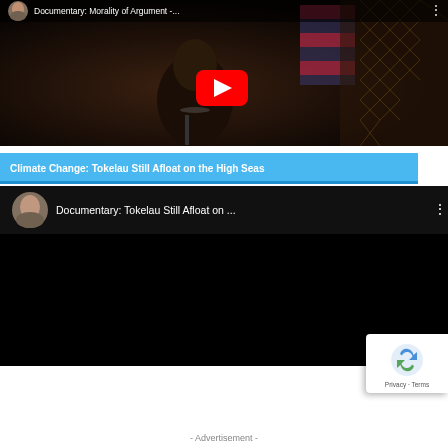[Figure (screenshot): YouTube video thumbnail for 'Documentary: Morality of Argument -...' showing a woman speaking at a podium with a US flag in the background, with a red YouTube play button overlay and a user avatar in the top left corner.]
Climate Change: Tokelau Still Afloat on the High Seas
[Figure (screenshot): YouTube video thumbnail for 'Documentary: Tokelau Still Afloat on ...' showing a dark/black background with a title bar at the top showing the documentary title and a circular avatar of a man on the left.]
[Figure (other): Google reCAPTCHA badge with recycling-arrow icon and Privacy/Terms links.]
- Advertisement -